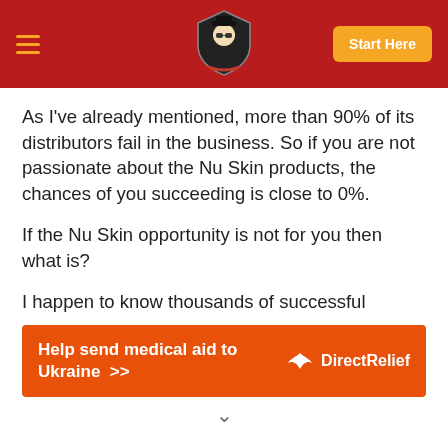Start Here
As I've already mentioned, more than 90% of its distributors fail in the business. So if you are not passionate about the Nu Skin products, the chances of you succeeding is close to 0%.
If the Nu Skin opportunity is not for you then what is?
I happen to know thousands of successful
[Figure (infographic): Orange advertisement banner: Help send medical aid to Ukraine >> with Direct Relief logo on the right.]